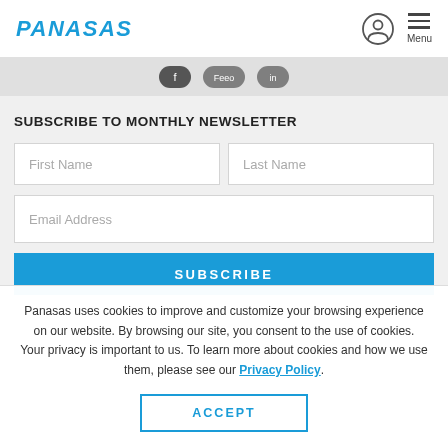PANASAS
[Figure (other): Social media icon buttons strip (three pill/rounded icon buttons)]
SUBSCRIBE TO MONTHLY NEWSLETTER
First Name
Last Name
Email Address
SUBSCRIBE
Panasas uses cookies to improve and customize your browsing experience on our website. By browsing our site, you consent to the use of cookies. Your privacy is important to us. To learn more about cookies and how we use them, please see our Privacy Policy.
ACCEPT